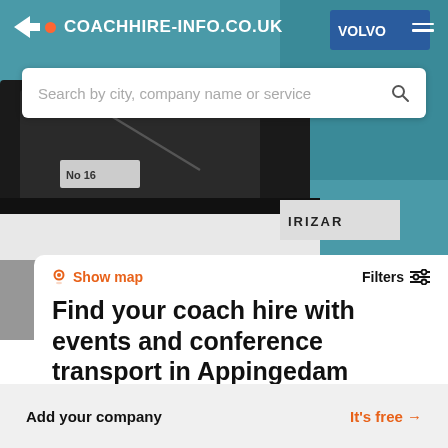COACHHIRE-INFO.CO.UK
Search by city, company name or service
Show map
Filters
Find your coach hire with events and conference transport in Appingedam
Find the best coach hire with events and conference transport in Appingedam based on your criteria.
Add your company
It's free →